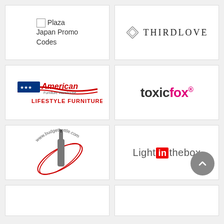[Figure (logo): Plaza Japan Promo Codes - broken image icon with text]
[Figure (logo): ThirdLove logo with diamond icon and serif text]
[Figure (logo): American Furniture Warehouse - Lifestyle Furniture logo with stars and stripes]
[Figure (logo): toxicfox logo in dark and pink bold text with superscript circle-R]
[Figure (logo): budgetbottle.com logo with wine bottle and red orbit rings]
[Figure (logo): LightInTheBox logo with red box around 'in']
[Figure (logo): Partial card bottom left - empty]
[Figure (logo): Partial card bottom right - empty]